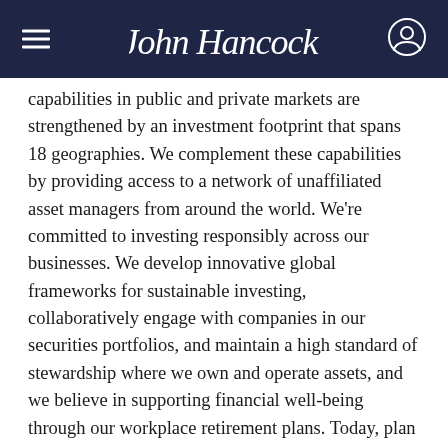John Hancock
capabilities in public and private markets are strengthened by an investment footprint that spans 18 geographies. We complement these capabilities by providing access to a network of unaffiliated asset managers from around the world. We're committed to investing responsibly across our businesses. We develop innovative global frameworks for sustainable investing, collaboratively engage with companies in our securities portfolios, and maintain a high standard of stewardship where we own and operate assets, and we believe in supporting financial well-being through our workplace retirement plans. Today, plan sponsors around the world rely on our retirement plan administration and investment expertise to help their employees plan for, save for, and live a better retirement. Not all offerings are available in all jurisdictions. For additional information, please visit manulifaim.com